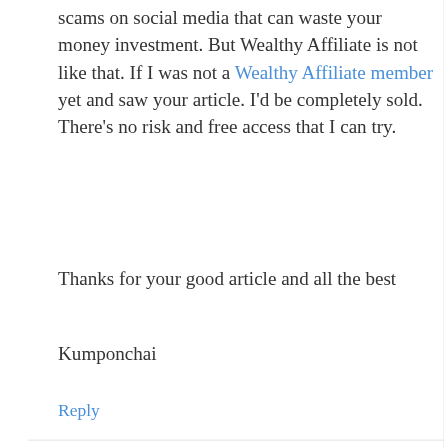scams on social media that can waste your money investment. But Wealthy Affiliate is not like that. If I was not a Wealthy Affiliate member yet and saw your article. I'd be completely sold. There's no risk and free access that I can try.
Thanks for your good article and all the best
Kumponchai
Reply
Habib Ali